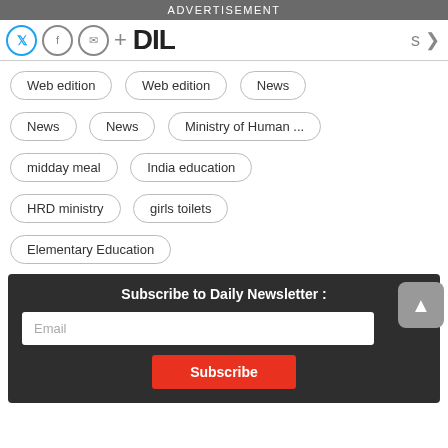ADVERTISEMENT
Web edition
Web edition
News
News
News
Ministry of Human ...
midday meal
India education
HRD ministry
girls toilets
Elementary Education
Subscribe to Daily Newsletter :
Email
Subscribe